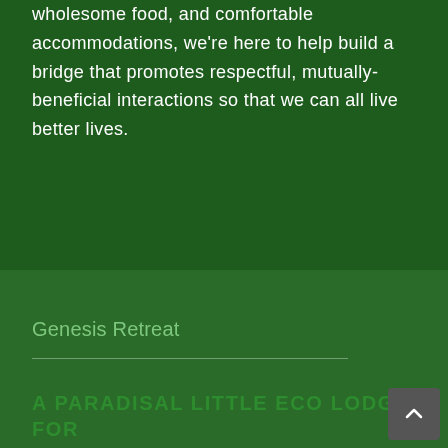As well as providing a lush and comforting gardens, wholesome food, and comfortable accommodations, we're here to help build a bridge that promotes respectful, mutually-beneficial interactions so that we can all live better lives.
Genesis Retreat
A PARADISAL LITTLE ECO LODGE FOR INDEPENDENT TRAVELERS WHO LOVE